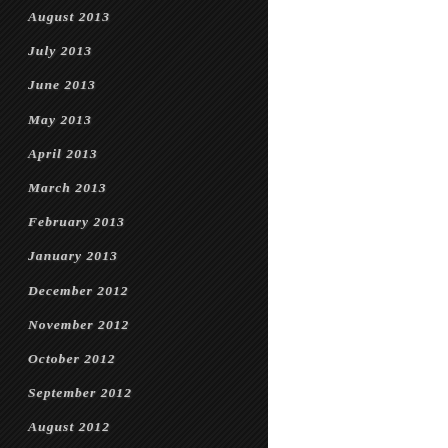August 2013
July 2013
June 2013
May 2013
April 2013
March 2013
February 2013
January 2013
December 2012
November 2012
October 2012
September 2012
August 2012
July 2012